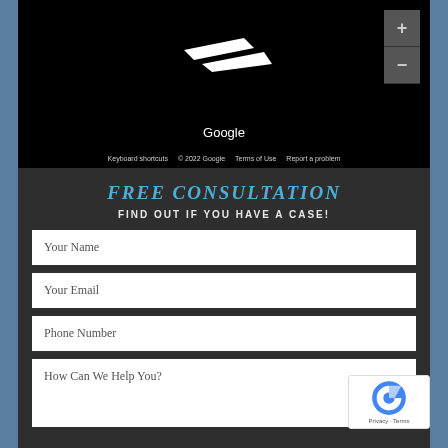[Figure (screenshot): Google Maps screenshot showing a dark map view with Google logo, zoom controls (+/-), and footer links: Keyboard shortcuts, © 2022 Google, Terms of Use, Report a problem]
FREE CONSULTATION
FIND OUT IF YOU HAVE A CASE!
Your Name
Your Email
Phone Number
How Can We Help You?